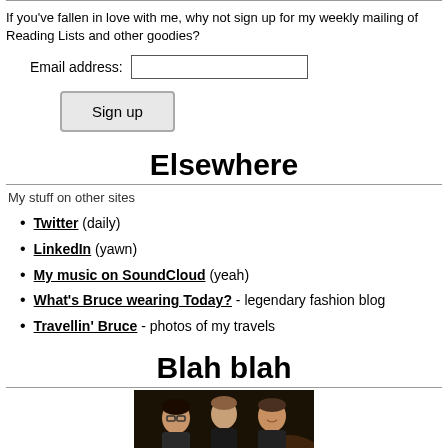If you've fallen in love with me, why not sign up for my weekly mailing of Reading Lists and other goodies?
Email address: [input field]
Sign up [button]
Elsewhere
My stuff on other sites
Twitter (daily)
LinkedIn (yawn)
My music on SoundCloud (yeah)
What's Bruce wearing Today? - legendary fashion blog
Travellin' Bruce - photos of my travels
Blah blah
[Figure (photo): Three people posing together in a dark/outdoor setting, casual photo]